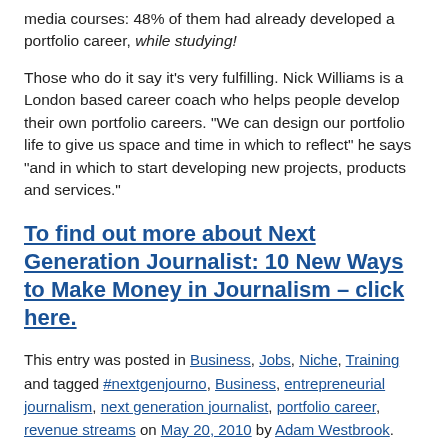media courses: 48% of them had already developed a portfolio career, while studying!
Those who do it say it’s very fulfilling. Nick Williams is a London based career coach who helps people develop their own portfolio careers. “We can design our portfolio life to give us space and time in which to reflect” he says “and in which to start developing new projects, products and services.”
To find out more about Next Generation Journalist: 10 New Ways to Make Money in Journalism – click here.
This entry was posted in Business, Jobs, Niche, Training and tagged #nextgenjourno, Business, entrepreneurial journalism, next generation journalist, portfolio career, revenue streams on May 20, 2010 by Adam Westbrook.